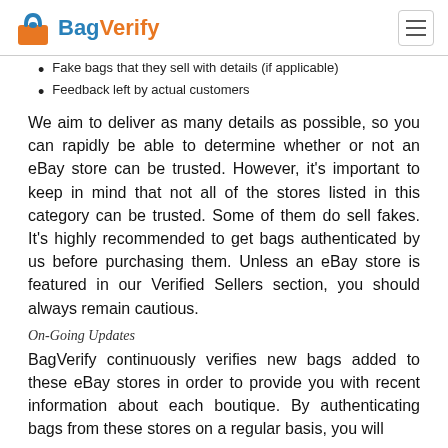BagVerify
Fake bags that they sell with details (if applicable)
Feedback left by actual customers
We aim to deliver as many details as possible, so you can rapidly be able to determine whether or not an eBay store can be trusted. However, it's important to keep in mind that not all of the stores listed in this category can be trusted. Some of them do sell fakes. It's highly recommended to get bags authenticated by us before purchasing them. Unless an eBay store is featured in our Verified Sellers section, you should always remain cautious.
On-Going Updates
BagVerify continuously verifies new bags added to these eBay stores in order to provide you with recent information about each boutique. By authenticating bags from these stores on a regular basis, you will